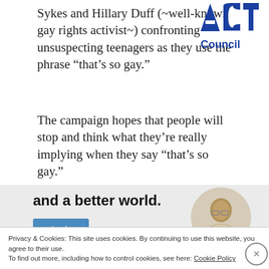Sykes and Hillary Duff (~well-known gay rights activist~) confronting unsuspecting teenagers as they use the phrase “that’s so gay.”
[Figure (logo): ACT Council logo in blue]
The campaign hopes that people will stop and think what they’re really implying when they say “that’s so gay.”
[Figure (infographic): Ad banner with text 'and a better world.' and an Apply button, with a circular portrait photo of a man]
Privacy & Cookies: This site uses cookies. By continuing to use this website, you agree to their use.
To find out more, including how to control cookies, see here: Cookie Policy
Close and accept